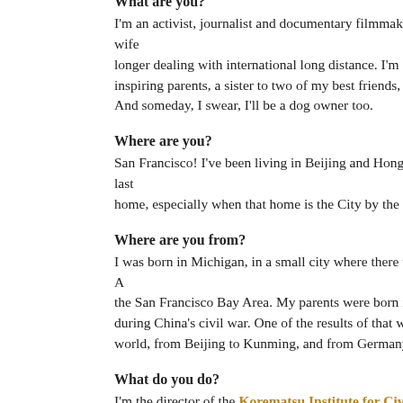What are you?
I'm an activist, journalist and documentary filmmaker. I'm also a wife no longer dealing with international long distance. I'm a daughter who's inspiring parents, a sister to two of my best friends, and an aunt to a And someday, I swear, I'll be a dog owner too.
Where are you?
San Francisco! I've been living in Beijing and Hong Kong for the last home, especially when that home is the City by the Bay.
Where are you from?
I was born in Michigan, in a small city where there were about five A the San Francisco Bay Area. My parents were born in mainland Chi during China's civil war. One of the results of that war is that I have world, from Beijing to Kunming, and from Germany to Australia.
What do you do?
I'm the director of the Korematsu Institute for Civil Rights and Ed Korematsu was a national civil rights hero, but unlike Dr. Martin Luth many of you may have never heard of him. It's not your fault. You we the things we're trying to change.
In 1942, Fred Korematsu refused to report to the government's racis Americans. After being arrested and convicted of defying the internm He chose to appeal his case all the way up to the Supreme Court, w